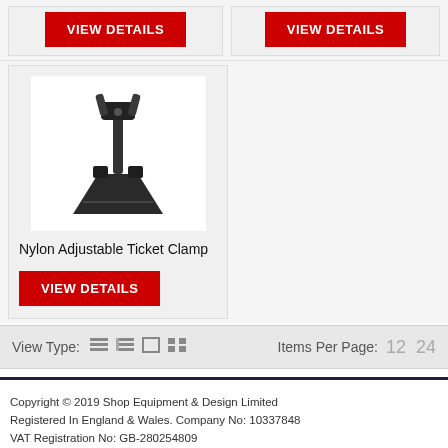[Figure (screenshot): Two VIEW DETAILS buttons at the top of the page from a product listing grid]
[Figure (photo): Product image of a Nylon Adjustable Ticket Clamp - a black metal/nylon clamp device with an adjustable arm]
Nylon Adjustable Ticket Clamp
VIEW DETAILS
View Type:   Items Per Page:  12  24
Copyright © 2019 Shop Equipment & Design Limited
Registered In England & Wales. Company No: 10337848
VAT Registration No: GB-280254809
Tel: +44 (0)1202 864510
Fax: +44 (0)1223 327859
Email: sales@shopequin.co.uk